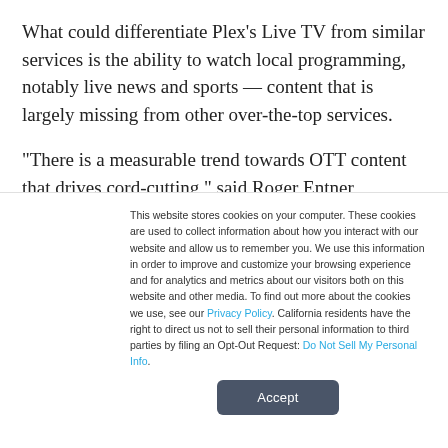What could differentiate Plex's Live TV from similar services is the ability to watch local programming, notably live news and sports — content that is largely missing from other over-the-top services.

“There is a measurable trend towards OTT content that drives cord-cutting,” said Roger Entner, principal analyst at Recon
This website stores cookies on your computer. These cookies are used to collect information about how you interact with our website and allow us to remember you. We use this information in order to improve and customize your browsing experience and for analytics and metrics about our visitors both on this website and other media. To find out more about the cookies we use, see our Privacy Policy. California residents have the right to direct us not to sell their personal information to third parties by filing an Opt-Out Request: Do Not Sell My Personal Info.